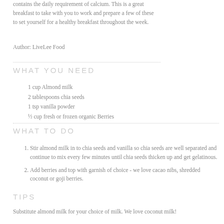contains the daily requirement of calcium. This is a great breakfast to take with you to work and prepare a few of these to set yourself for a healthy breakfast throughout the week.
Author: LiveLee Food
WHAT YOU NEED
1 cup Almond milk
2 tablespoons chia seeds
1 tsp vanilla powder
½ cup fresh or frozen organic Berries
WHAT TO DO
Stir almond milk in to chia seeds and vanilla so chia seeds are well separated and continue to mix every few minutes until chia seeds thicken up and get gelatinous.
Add berries and top with garnish of choice - we love cacao nibs, shredded coconut or goji berries.
TIPS
Substitute almond milk for your choice of milk. We love coconut milk!